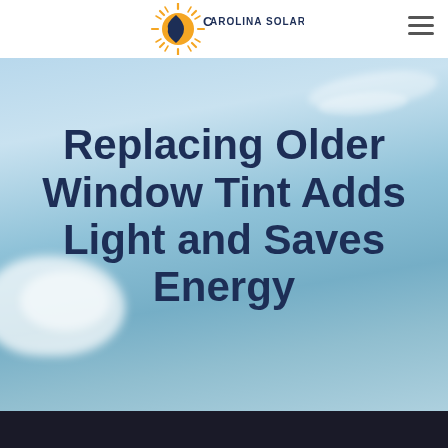Carolina Solar
[Figure (logo): Carolina Solar logo with sun rays and crescent moon shape, text reading CAROLINA SOLAR]
Replacing Older Window Tint Adds Light and Saves Energy
[Figure (photo): Blue sky with white clouds background image]